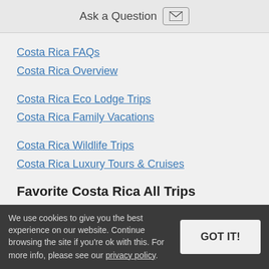Ask a Question
Costa Rica FAQs
Costa Rica Overview
Costa Rica Eco Lodge Trips
Costa Rica Family Vacations
Costa Rica Wildlife Trips
Costa Rica Luxury Tours & Cruises
Favorite Costa Rica All Trips
Costa Rica Family Vacation
Beaches & Rainforest
We use cookies to give you the best experience on our website. Continue browsing the site if you're ok with this. For more info, please see our privacy policy.
GOT IT!